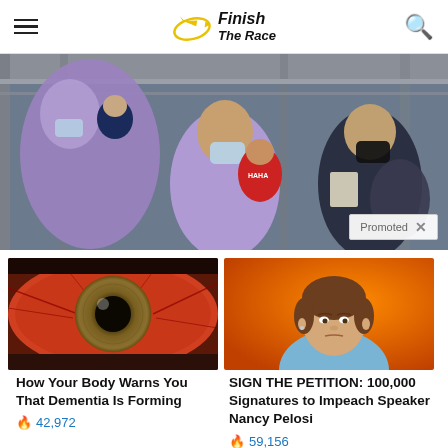Finish The Race
[Figure (photo): News website header with hamburger menu, Finish The Race logo with circular arrow graphic, and search icon]
[Figure (photo): Hero image showing migrants/immigrants wearing face masks, including a woman holding a child in a red shirt, and a man in a black mask holding papers, under an overpass or bridge structure. Promoted badge with X button in lower right.]
[Figure (photo): Close-up extreme macro photo of a human eye with amber/hazel iris and bloodshot sclera]
How Your Body Warns You That Dementia Is Forming
42,972
[Figure (photo): Portrait photo of Nancy Pelosi, older woman with short brown hair, wearing a blue outfit, against an orange background]
SIGN THE PETITION: 100,000 Signatures to Impeach Speaker Nancy Pelosi
59,156